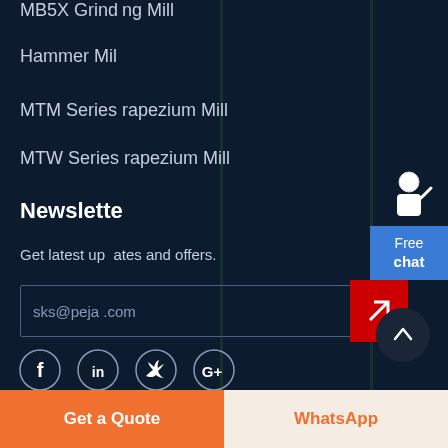MB5X Grinding Mill
Hammer Mill
MTM Series Trapezium Mill
MTW Series Trapezium Mill
Newsletter
Get latest updates and offers.
sks@peja.com
[Figure (infographic): Free chat widget with person figure and blue button showing 'Free chat']
[Figure (infographic): Social media icons row: Facebook, LinkedIn, Twitter, Google+]
Get a Quote
WhatsApp